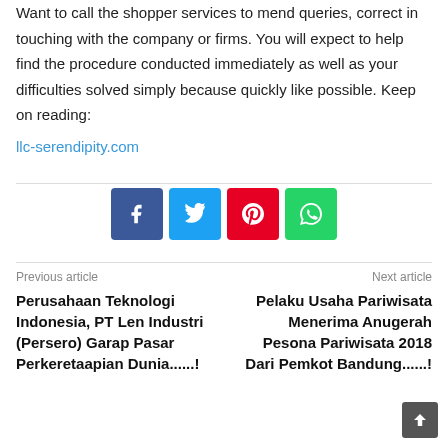Want to call the shopper services to mend queries, correct in touching with the company or firms. You will expect to help find the procedure conducted immediately as well as your difficulties solved simply because quickly like possible. Keep on reading:
llc-serendipity.com
[Figure (infographic): Four social media share buttons in a row: Facebook (blue), Twitter (light blue), Pinterest (red), WhatsApp (green)]
Previous article
Perusahaan Teknologi Indonesia, PT Len Industri (Persero) Garap Pasar Perkeretaapian Dunia......!
Next article
Pelaku Usaha Pariwisata Menerima Anugerah Pesona Pariwisata 2018 Dari Pemkot Bandung......!